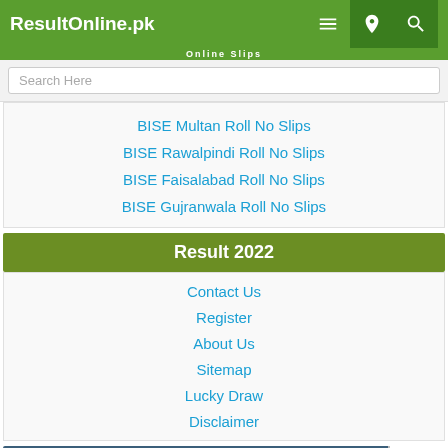ResultOnline.pk
Search Here
BISE Multan Roll No Slips
BISE Rawalpindi Roll No Slips
BISE Faisalabad Roll No Slips
BISE Gujranwala Roll No Slips
Result 2022
Contact Us
Register
About Us
Sitemap
Lucky Draw
Disclaimer
Subscribe by Email
0 Share | 4 WhatsApp | 0 Tweet | 1 Share | 2 Pin | 0 Reddit